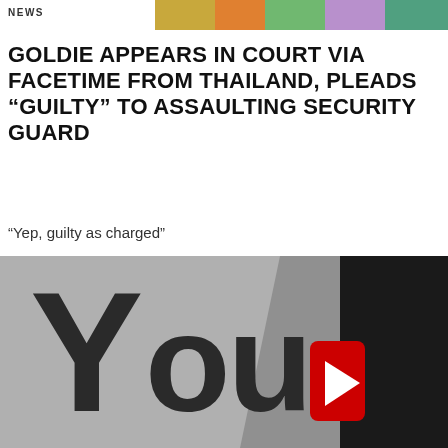NEWS
[Figure (photo): Colorful photo strip at top of page with orange, teal/green, and purple tones]
GOLDIE APPEARS IN COURT VIA FACETIME FROM THAILAND, PLEADS “GUILTY” TO ASSAULTING SECURITY GUARD
“Yep, guilty as charged”
Goldie appeared in court via Facetime from his home in Thailand this week, pleading guilty to the assault of a security guard at last year’s...
[Figure (photo): Close-up photo of a YouTube logo sign with dark background and red/dark lettering]